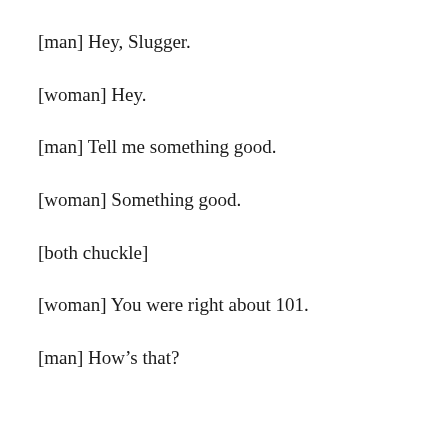[man] Hey, Slugger.
[woman] Hey.
[man] Tell me something good.
[woman] Something good.
[both chuckle]
[woman] You were right about 101.
[man] How’s that?